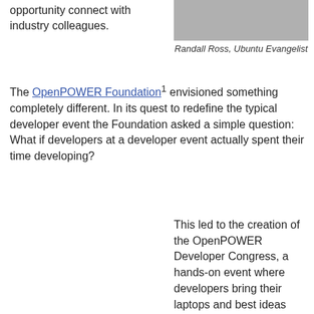opportunity connect with industry colleagues.
[Figure (photo): Photo of Randall Ross, Ubuntu Evangelist]
Randall Ross, Ubuntu Evangelist
The OpenPOWER Foundation¹ envisioned something completely different. In its quest to redefine the typical developer event the Foundation asked a simple question: What if developers at a developer event actually spent their time developing?
This led to the creation of the OpenPOWER Developer Congress, a hands-on event where developers bring their laptops and best ideas and get their hands dirty, working